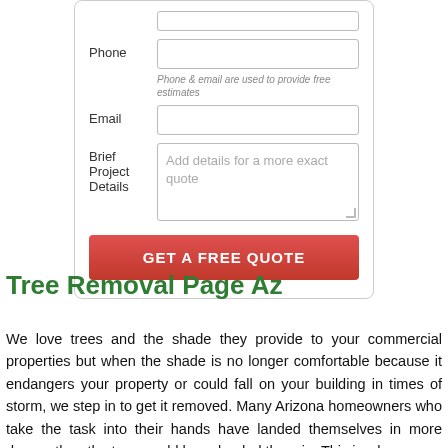[Figure (screenshot): A web form with fields for Phone, Email, and Brief Project Details, with a red 'GET A FREE QUOTE' button at the bottom, inside a rounded border card.]
Tree Removal Page Az
We love trees and the shade they provide to your commercial properties but when the shade is no longer comfortable because it endangers your property or could fall on your building in times of storm, we step in to get it removed. Many Arizona homeowners who take the task into their hands have landed themselves in more danger than the tree would have landed them in. This is why we